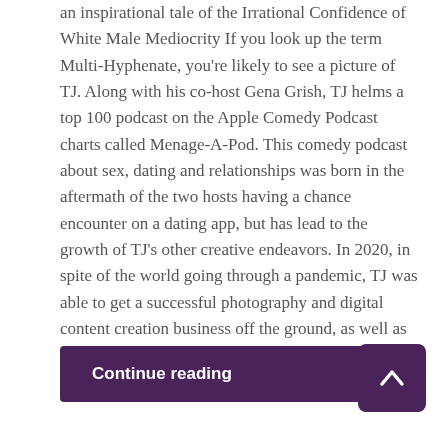an inspirational tale of the Irrational Confidence of White Male Mediocrity If you look up the term Multi-Hyphenate, you're likely to see a picture of TJ. Along with his co-host Gena Grish, TJ helms a top 100 podcast on the Apple Comedy Podcast charts called Menage-A-Pod. This comedy podcast about sex, dating and relationships was born in the aftermath of the two hosts having a chance encounter on a dating app, but has lead to the growth of TJ's other creative endeavors. In 2020, in spite of the world going through a pandemic, TJ was able to get a successful photography and digital content creation business off the ground, as well as establishing himself as an up and coming talent in the Chicago stand up comedy scene.
Continue reading